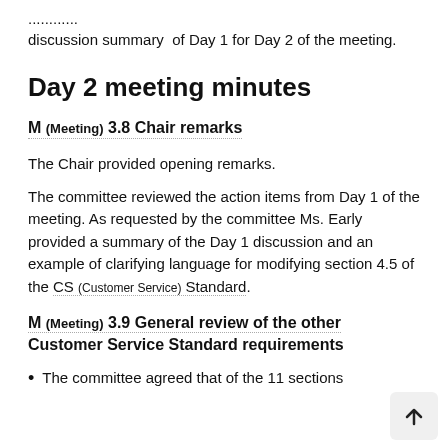discussion summary  of Day 1 for Day 2 of the meeting.
Day 2 meeting minutes
M (Meeting) 3.8 Chair remarks
The Chair provided opening remarks.
The committee reviewed the action items from Day 1 of the meeting. As requested by the committee Ms. Early provided a summary of the Day 1 discussion and an example of clarifying language for modifying section 4.5 of the CS (Customer Service) Standard.
M (Meeting) 3.9 General review of the other Customer Service Standard requirements
The committee agreed that of the 11 sections